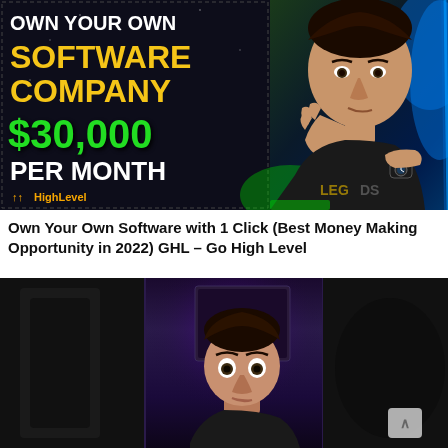[Figure (screenshot): YouTube video thumbnail showing a man thinking with hand on chin. Text reads 'OWN YOUR OWN SOFTWARE COMPANY $30,000 PER MONTH' with HighLevel branding. Colorful background with yellow, green and blue elements. Man wearing black shirt with 'LEGENDS' text.]
Own Your Own Software with 1 Click (Best Money Making Opportunity in 2022) GHL – Go High Level
[Figure (screenshot): Video thumbnail/preview showing a man's face in a dark room with purple/blue lighting behind him. The frame is split into three dark panels with the person centered in the middle panel.]